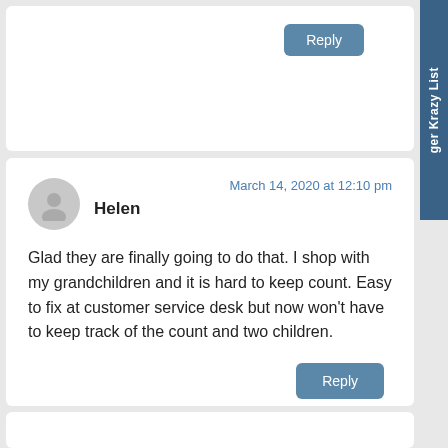[Figure (other): Blue sidebar tab on the right side with vertical text 'ger Krazy List']
Reply
Helen
March 14, 2020 at 12:10 pm
Glad they are finally going to do that. I shop with my grandchildren and it is hard to keep count. Easy to fix at customer service desk but now won't have to keep track of the count and two children.
Reply